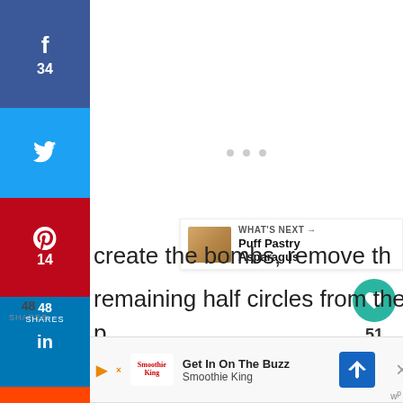[Figure (screenshot): Social media sharing sidebar with Facebook (34 shares), Twitter, Pinterest (14 saves), LinkedIn, Reddit, Yummly, and Buffer buttons stacked vertically on the left side]
[Figure (screenshot): Loading indicator with three gray dots in the center of the page]
[Figure (screenshot): Heart/like button (teal circle) with count 51, and share button below it on the right side]
[Figure (screenshot): What's Next banner showing Puff Pastry Asparagus with a food photo thumbnail]
create the bombs, remove th
remaining half circles from the mold and
p
[Figure (screenshot): Advertisement banner for Smoothie King saying Get In On The Buzz with play button, logo, navigation arrow icon and close button]